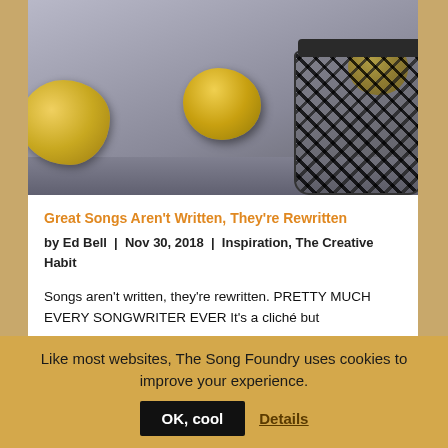[Figure (photo): Photo of crumpled yellow paper balls on a wooden table surface, with a black wire mesh trash basket/bin on the right containing another crumpled paper ball.]
Great Songs Aren't Written, They're Rewritten
by Ed Bell  |  Nov 30, 2018  |  Inspiration, The Creative Habit
Songs aren't written, they're rewritten. PRETTY MUCH EVERY SONGWRITER EVER It's a cliché but
Like most websites, The Song Foundry uses cookies to improve your experience.
OK, cool
Details